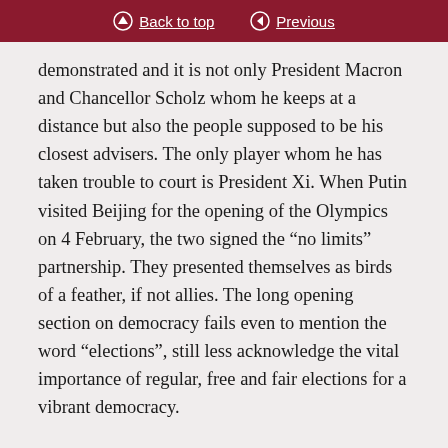Back to top | Previous
demonstrated and it is not only President Macron and Chancellor Scholz whom he keeps at a distance but also the people supposed to be his closest advisers. The only player whom he has taken trouble to court is President Xi. When Putin visited Beijing for the opening of the Olympics on 4 February, the two signed the “no limits” partnership. They presented themselves as birds of a feather, if not allies. The long opening section on democracy fails even to mention the word “elections”, still less acknowledge the vital importance of regular, free and fair elections for a vibrant democracy.
Today the international community faces a test in New York. The UN is a strikingly sympathetic forum for Russia, in part because Russia has posed as an...